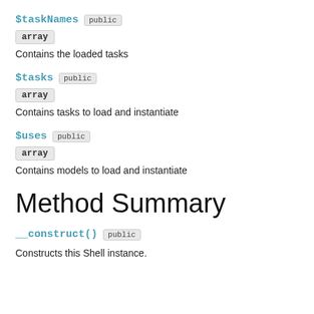$taskNames public
array
Contains the loaded tasks
$tasks public
array
Contains tasks to load and instantiate
$uses public
array
Contains models to load and instantiate
Method Summary
__construct() public
Constructs this Shell instance.